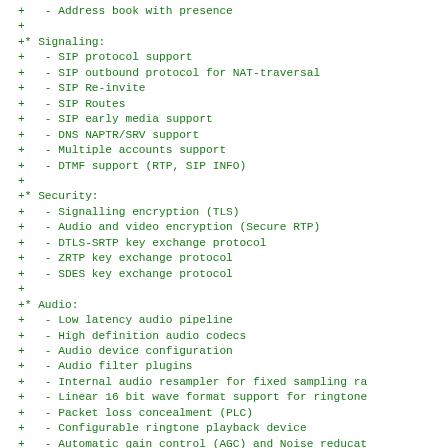+   - Address book with presence
+
+* Signaling:
+   - SIP protocol support
+   - SIP outbound protocol for NAT-traversal
+   - SIP Re-invite
+   - SIP Routes
+   - SIP early media support
+   - DNS NAPTR/SRV support
+   - Multiple accounts support
+   - DTMF support (RTP, SIP INFO)
+
+* Security:
+   - Signalling encryption (TLS)
+   - Audio and video encryption (Secure RTP)
+   - DTLS-SRTP key exchange protocol
+   - ZRTP key exchange protocol
+   - SDES key exchange protocol
+
+* Audio:
+   - Low latency audio pipeline
+   - High definition audio codecs
+   - Audio device configuration
+   - Audio filter plugins
+   - Internal audio resampler for fixed sampling ra
+   - Linear 16 bit wave format support for ringtone
+   - Packet loss concealment (PLC)
+   - Configurable ringtone playback device
+   - Automatic gain control (AGC) and Noise reducat
+   - Acoustic echo control (AEC)